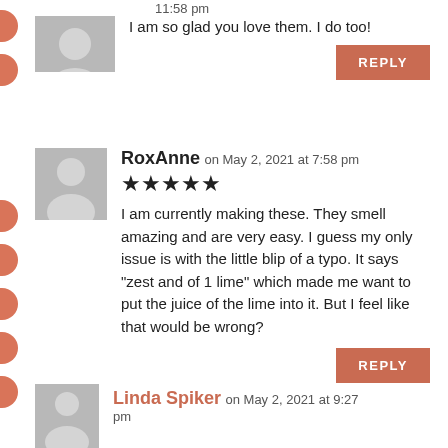11:58 pm
I am so glad you love them. I do too!
REPLY
RoxAnne on May 2, 2021 at 7:58 pm
★★★★★
I am currently making these. They smell amazing and are very easy. I guess my only issue is with the little blip of a typo. It says "zest and of 1 lime" which made me want to put the juice of the lime into it. But I feel like that would be wrong?
REPLY
Linda Spiker on May 2, 2021 at 9:27 pm